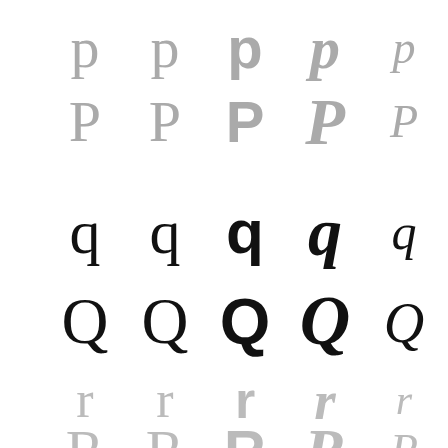[Figure (illustration): A 5-column by 6-row grid showing the letters p, P, q, Q, r, R in different typeface/font styles. The top two rows (p, P) are in gray. The middle two rows (q, Q) are in black. The bottom two rows (r, R) are in gray. Each row shows 5 stylistic variants from left to right: serif, outline/thin, bold serif, italic/script, and decorative/ornamental.]